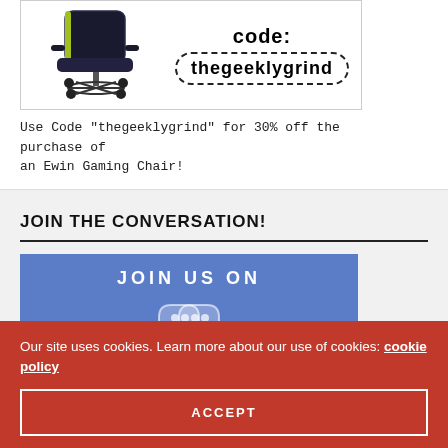[Figure (photo): Gaming chair advertisement image with 'code: thegeeklygrind' text and dashed border badge]
Use Code "thegeeklygrind" for 30% off the purchase of an Ewin Gaming Chair!
JOIN THE CONVERSATION!
[Figure (illustration): Blue banner with 'JOIN US ON' text and Discord logo icon]
Our site uses cookies. Learn more about our use of cookies: cookie policy
ACCEPT